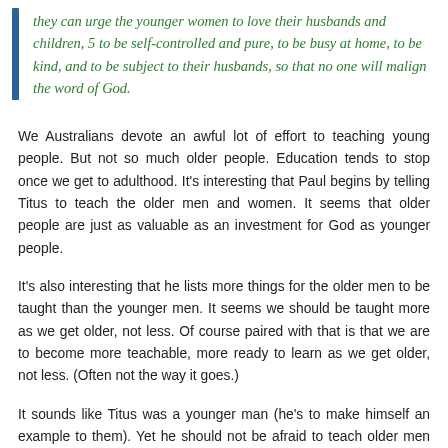they can urge the younger women to love their husbands and children, 5 to be self-controlled and pure, to be busy at home, to be kind, and to be subject to their husbands, so that no one will malign the word of God.
We Australians devote an awful lot of effort to teaching young people. But not so much older people. Education tends to stop once we get to adulthood. It’s interesting that Paul begins by telling Titus to teach the older men and women. It seems that older people are just as valuable as an investment for God as younger people.
It’s also interesting that he lists more things for the older men to be taught than the younger men. It seems we should be taught more as we get older, not less. Of course paired with that is that we are to become more teachable, more ready to learn as we get older, not less. (Often not the way it goes.)
It sounds like Titus was a younger man (he’s to make himself an example to them). Yet he should not be afraid to teach older men and women, and they should be ready to learn from a younger man. It’s not about age.